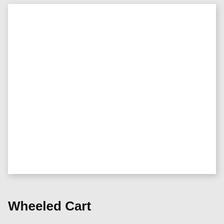[Figure (photo): A white rectangular card/image area with a slight drop shadow, mostly blank white space representing a product image placeholder.]
Wheeled Cart